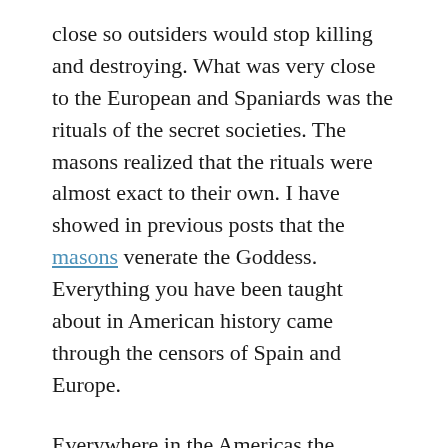close so outsiders would stop killing and destroying.  What was very close to the European and Spaniards was the rituals of the secret societies.  The masons realized that the rituals were almost exact to their own.  I have showed in previous posts that the masons venerate the Goddess.  Everything you have been taught about in American history came through the censors of Spain and Europe.
Everywhere in the Americas the serpent appears.   The serpent is all over the world.  The serpent to the Native Americas represented wisdom.  It was used in all their initiations.  The feathered serpent was a form of the phoenix.  Their temples were subterranean to represent